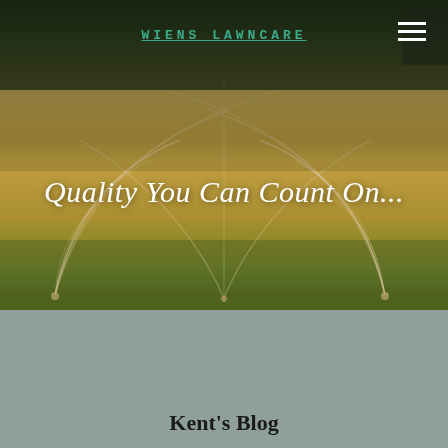[Figure (photo): Photograph of lawn sprinklers spraying water in arcing patterns over a green grass lawn, with trees and a building visible in the background. The scene is bathed in warm golden light.]
WIENS LAWNCARE
Quality You Can Count On...
Kent's Blog